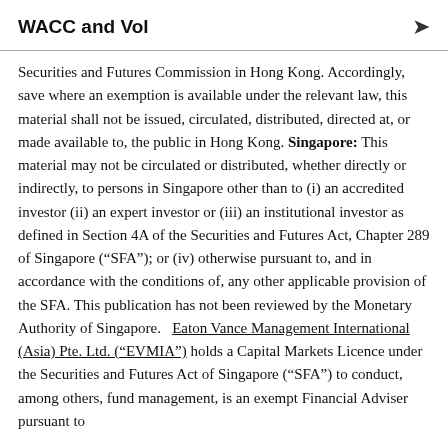WACC and Vol
Securities and Futures Commission in Hong Kong. Accordingly, save where an exemption is available under the relevant law, this material shall not be issued, circulated, distributed, directed at, or made available to, the public in Hong Kong. Singapore: This material may not be circulated or distributed, whether directly or indirectly, to persons in Singapore other than to (i) an accredited investor (ii) an expert investor or (iii) an institutional investor as defined in Section 4A of the Securities and Futures Act, Chapter 289 of Singapore (“SFA”); or (iv) otherwise pursuant to, and in accordance with the conditions of, any other applicable provision of the SFA. This publication has not been reviewed by the Monetary Authority of Singapore. Eaton Vance Management International (Asia) Pte. Ltd. (“EVMIA”) holds a Capital Markets Licence under the Securities and Futures Act of Singapore (“SFA”) to conduct, among others, fund management, is an exempt Financial Adviser pursuant to